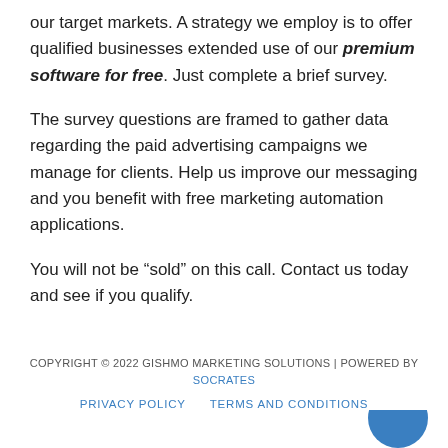our target markets. A strategy we employ is to offer qualified businesses extended use of our premium software for free. Just complete a brief survey.
The survey questions are framed to gather data regarding the paid advertising campaigns we manage for clients. Help us improve our messaging and you benefit with free marketing automation applications.
You will not be “sold” on this call. Contact us today and see if you qualify.
COPYRIGHT © 2022 GISHMO MARKETING SOLUTIONS | POWERED BY SOCRATES
PRIVACY POLICY   TERMS AND CONDITIONS